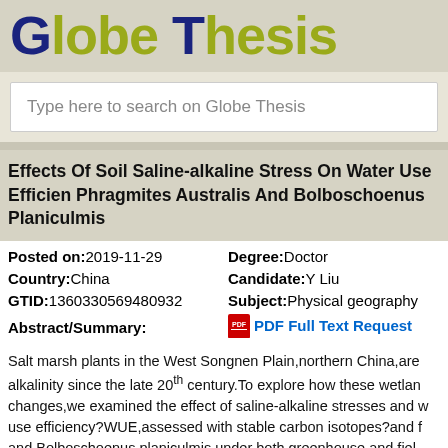Globe Thesis
Type here to search on Globe Thesis
Effects Of Soil Saline-alkaline Stress On Water Use Efficiency Phragmites Australis And Bolboschoenus Planiculmis
Posted on:2019-11-29   Degree:Doctor   Country:China   Candidate:Y Liu   GTID:1360330569480932   Subject:Physical geography
Abstract/Summary:   PDF Full Text Request
Salt marsh plants in the West Songnen Plain,northern China,are alkalinity since the late 20th century.To explore how these wetlan changes,we examined the effect of saline-alkaline stresses and w use efficiency?WUE,assessed with stable carbon isotopes?and f and Bolboschoenus planiculmis under both greenhouse and fiel understanding of the influence of climate change and increasing